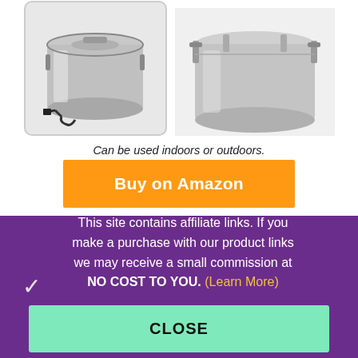[Figure (photo): Two stainless steel pots/containers. Left: a smaller pot with a cord/plug visible, inside a rounded rectangle border. Right: a larger stainless steel container with clamp lid hardware.]
Can be used indoors or outdoors.
Buy on Amazon
This site contains affiliate links. If you make a purchase with our product links we may receive a small commission at NO COST TO YOU. (Learn More)
CLOSE